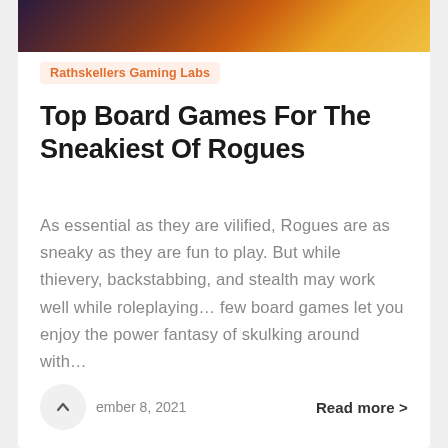[Figure (photo): Fantasy-themed board game artwork showing dragons and colorful characters]
Rathskellers Gaming Labs
Top Board Games For The Sneakiest Of Rogues
As essential as they are vilified, Rogues are as sneaky as they are fun to play. But while thievery, backstabbing, and stealth may work well while roleplaying… few board games let you enjoy the power fantasy of skulking around with…
ember 8, 2021
Read more >